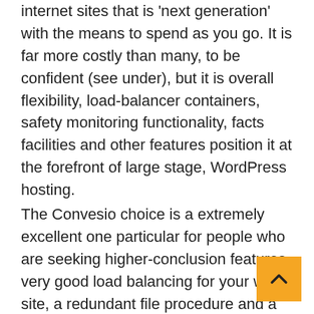internet sites that is 'next generation' with the means to spend as you go. It is far more costly than many, to be confident (see under), but it is overall flexibility, load-balancer containers, safety monitoring functionality, facts facilities and other features position it at the forefront of large stage, WordPress hosting.
The Convesio choice is a extremely excellent one particular for people who are seeking higher-conclusion features, very good load balancing for your web site, a redundant file procedure and a database cluster which permits various servers to join to a single database (of which a lot